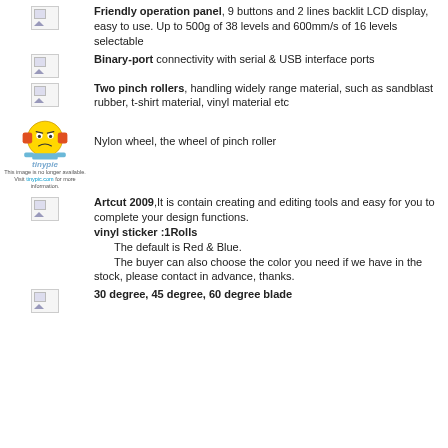Friendly operation panel, 9 buttons and 2 lines backlit LCD display, easy to use. Up to 500g of 38 levels and 600mm/s of 16 levels selectable
Binary-port connectivity with serial & USB interface ports
Two pinch rollers, handling widely range material, such as sandblast rubber, t-shirt material, vinyl material etc
Nylon wheel, the wheel of pinch roller
Artcut 2009,It is contain creating and editing tools and easy for you to complete your design functions.
vinyl sticker :1Rolls
The default is Red & Blue.
The buyer can also choose the color you need if we have in the stock, please contact in advance, thanks.
30 degree, 45 degree, 60 degree blade